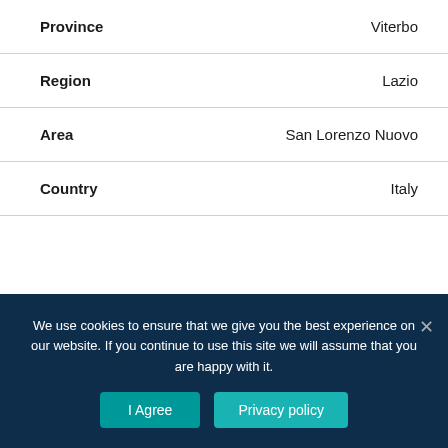|  |  |
| --- | --- |
| Province | Viterbo |
| Region | Lazio |
| Area | San Lorenzo Nuovo |
| Country | Italy |
We use cookies to ensure that we give you the best experience on our website. If you continue to use this site we will assume that you are happy with it.
I Agree
Privacy policy